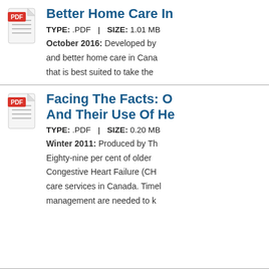[Figure (illustration): PDF file icon with red PDF label badge]
Better Home Care In…
TYPE: .PDF | SIZE: 1.01 MB
October 2016: Developed by…
and better home care in Cana…
that is best suited to take the…
[Figure (illustration): PDF file icon with red PDF label badge]
Facing The Facts: O… And Their Use Of He…
TYPE: .PDF | SIZE: 0.20 MB
Winter 2011: Produced by Th…
Eighty-nine per cent of older…
Congestive Heart Failure (CH…
care services in Canada. Timel…
management are needed to k…